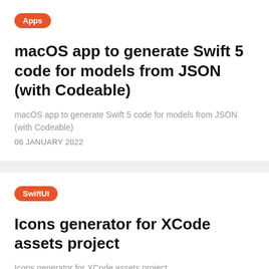Apps
macOS app to generate Swift 5 code for models from JSON (with Codeable)
macOS app to generate Swift 5 code for models from JSON (with Codeable)
06 JANUARY 2022
SwiftUI
Icons generator for XCode assets project
Icons generator for XCode assets project
30 DECEMBER 2021